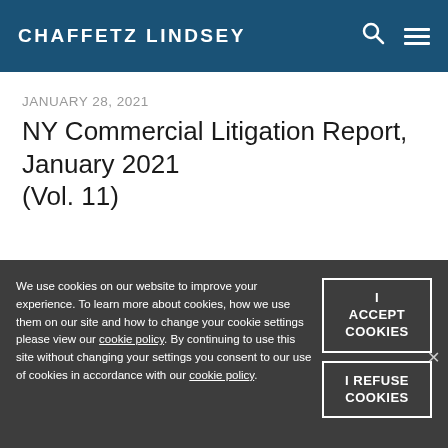Chaffetz Lindsey
JANUARY 28, 2021
NY Commercial Litigation Report, January 2021 (Vol. 11)
We use cookies on our website to improve your experience. To learn more about cookies, how we use them on our site and how to change your cookie settings please view our cookie policy. By continuing to use this site without changing your settings you consent to our use of cookies in accordance with our cookie policy.
I ACCEPT COOKIES
I REFUSE COOKIES